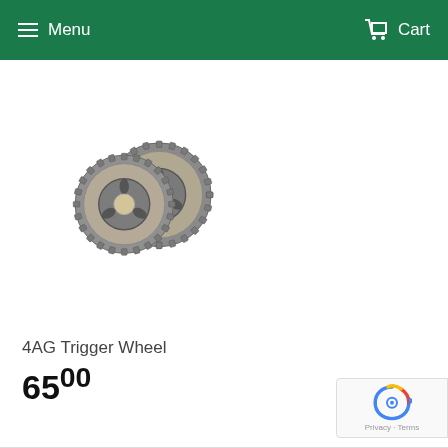Menu   Cart
[Figure (photo): Two interlocked metal gear/sprocket trigger wheels, dark metallic color, photographed on white background]
4AG Trigger Wheel
65.00